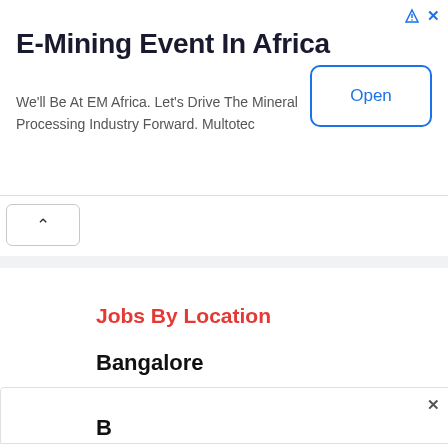[Figure (screenshot): Advertisement banner for E-Mining Event In Africa by Multotec with an Open button]
E-Mining Event In Africa
We'll Be At EM Africa. Let's Drive The Mineral Processing Industry Forward. Multotec
Jobs By Location
Bangalore
B